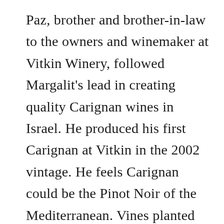Paz, brother and brother-in-law to the owners and winemaker at Vitkin Winery, followed Margalit's lead in creating quality Carignan wines in Israel. He produced his first Carignan at Vitkin in the 2002 vintage. He feels Carignan could be the Pinot Noir of the Mediterranean. Vines planted in 1976 and 1979, in three different sites near Zichron Ya'acov (Hanadiv Valley), originally trained as cordon and now re-trained as gobelet. Yield of about 30hl/ha. Carignan does very well in hot